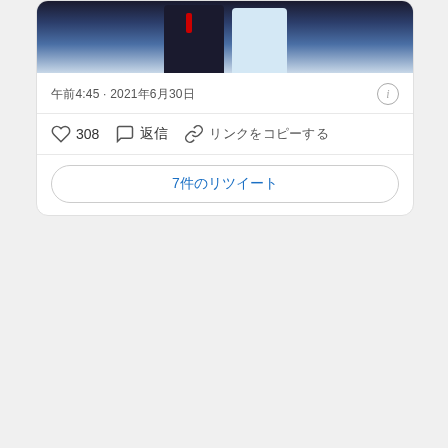[Figure (photo): A group photo showing people in formal attire, partially visible at top of social media card]
午前4:45 · 2021年6月30日
♡ 308  💬 返信  🔗 リンクをコピーする
7件のリツイート